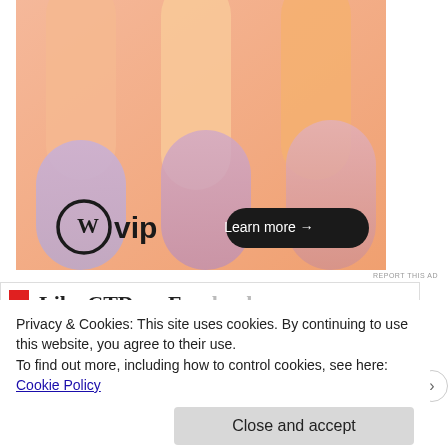[Figure (illustration): WordPress VIP advertisement banner with colorful abstract gradient background featuring peach, lavender, and orange rounded pillar shapes. Shows WordPress logo (circle W) with 'vip' text and a 'Learn more →' button on dark background.]
REPORT THIS AD
Like CTD on Facebook
Privacy & Cookies: This site uses cookies. By continuing to use this website, you agree to their use.
To find out more, including how to control cookies, see here: Cookie Policy
Close and accept